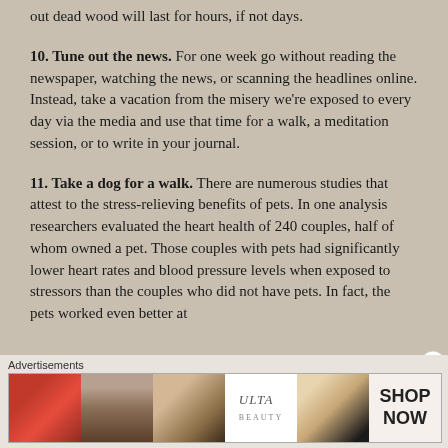out dead wood will last for hours, if not days.
10. Tune out the news. For one week go without reading the newspaper, watching the news, or scanning the headlines online. Instead, take a vacation from the misery we're exposed to every day via the media and use that time for a walk, a meditation session, or to write in your journal.
11. Take a dog for a walk. There are numerous studies that attest to the stress-relieving benefits of pets. In one analysis researchers evaluated the heart health of 240 couples, half of whom owned a pet. Those couples with pets had significantly lower heart rates and blood pressure levels when exposed to stressors than the couples who did not have pets. In fact, the pets worked even better at
Advertisements
[Figure (photo): Advertisement banner for ULTA beauty products showing cosmetic images (lips with lipstick, makeup brush, eye with makeup, ULTA logo, eye with makeup) and a SHOP NOW button]